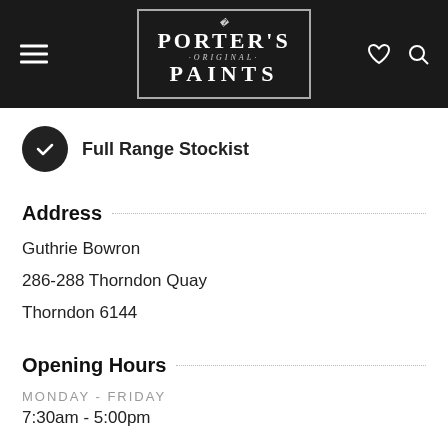[Figure (logo): Porter's Original Paints logo in white on black header bar with hamburger menu icon and heart/search icons]
Full Range Stockist
Address
Guthrie Bowron
286-288 Thorndon Quay
Thorndon 6144
Opening Hours
MONDAY - FRIDAY
7:30am - 5:00pm